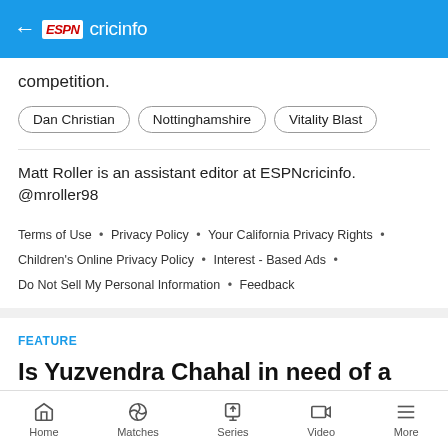ESPNcricinfo
competition.
Dan Christian
Nottinghamshire
Vitality Blast
Matt Roller is an assistant editor at ESPNcricinfo. @mroller98
Terms of Use • Privacy Policy • Your California Privacy Rights • Children's Online Privacy Policy • Interest - Based Ads • Do Not Sell My Personal Information • Feedback
FEATURE
Is Yuzvendra Chahal in need of a plan B?
Home  Matches  Series  Video  More